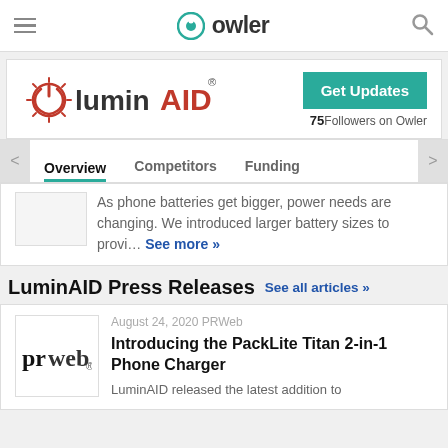owler
[Figure (logo): LuminAID company logo with sun/power icon]
Get Updates
75 Followers on Owler
Overview   Competitors   Funding
As phone batteries get bigger, power needs are changing. We introduced larger battery sizes to provi… See more »
LuminAID Press Releases
See all articles »
August 24, 2020  PRWeb
Introducing the PackLite Titan 2-in-1 Phone Charger
LuminAID released the latest addition to